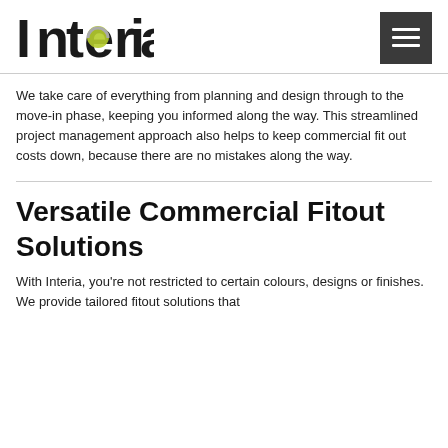[Figure (logo): Interia logo with stylized letter 'e' containing a green-yellow circle detail]
We take care of everything from planning and design through to the move-in phase, keeping you informed along the way. This streamlined project management approach also helps to keep commercial fit out costs down, because there are no mistakes along the way.
Versatile Commercial Fitout Solutions
With Interia, you're not restricted to certain colours, designs or finishes. We provide tailored fitout solutions that